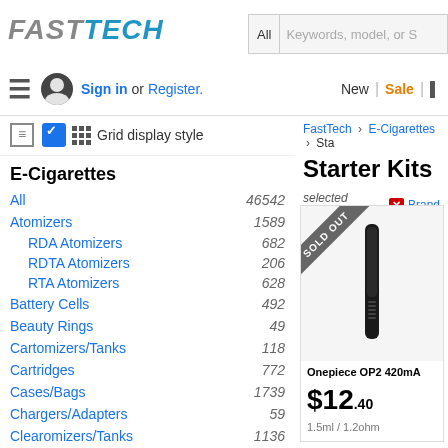FastTech — Sign in or Register. New | Sale
Grid display style
E-Cigarettes
All 46542
Atomizers 1589
RDA Atomizers 682
RDTA Atomizers 206
RTA Atomizers 628
Battery Cells 492
Beauty Rings 49
Cartomizers/Tanks 118
Cartridges 772
Cases/Bags 1739
Chargers/Adapters 59
Clearomizers/Tanks 1136
Coil Heads 1406
Coil Jigs 42
Disposables 988
FastTech > E-Cigarettes > Starter Kits
Starter Kits
selected filters: Brand
[Figure (photo): Product photo of Onepiece OP2 vape device with SOLD OUT diagonal banner]
Onepiece OP2 420mA
$12.40
1.5ml / 1.2ohm